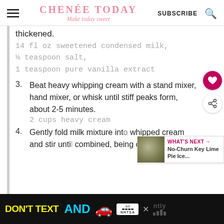CHENÉE TODAY — Make today sweet | SUBSCRIBE
thickened.
14 fl oz sweetened condensed milk,
⅛ teaspoon salt,
1 teaspoon pure vanilla extract
3. Beat heavy whipping cream with a stand mixer, hand mixer, or whisk until stiff peaks form, about 2-5 minutes.
2 cups heavy cream
4. Gently fold milk mixture into whipped cream and stir until combined, being careful not to
[Figure (screenshot): Ad banner: DON'T TEXT AND [car emoji] with NHTSA logo and close button]